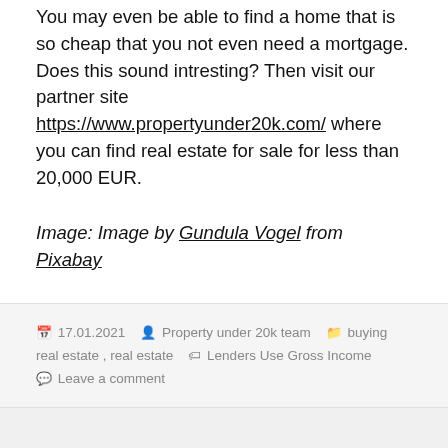You may even be able to find a home that is so cheap that you not even need a mortgage. Does this sound intresting? Then visit our partner site https://www.propertyunder20k.com/ where you can find real estate for sale for less than 20,000 EUR.
Image: Image by Gundula Vogel from Pixabay
17.01.2021  Property under 20k team  buying real estate, real estate  Lenders Use Gross Income  Leave a comment